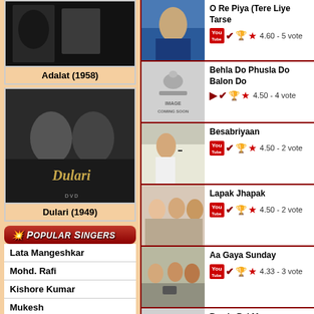[Figure (photo): Movie poster thumbnail for Adalat (1958)]
Adalat (1958)
[Figure (photo): Movie poster for Dulari (1949), showing two women]
Dulari (1949)
Popular Singers
Lata Mangeshkar
Mohd. Rafi
Kishore Kumar
Mukesh
Geeta Dutt
Talat Mahmood
Asha Bhosle
Manna Dey
Mahendra Kapoor
[Figure (photo): Song thumbnail for O Re Piya (Tere Liye Tarse) - woman dancing]
O Re Piya (Tere Liye Tarse) 4.60 - 5 votes
[Figure (photo): Image coming soon placeholder for Behla Do Phusla Do Balon Do]
Behla Do Phusla Do Balon Do 4.50 - 4 votes
[Figure (photo): Song thumbnail for Besabriyaan - man in white shirt]
Besabriyaan 4.50 - 2 votes
[Figure (photo): Song thumbnail for Lapak Jhapak - group of men]
Lapak Jhapak 4.50 - 2 votes
[Figure (photo): Song thumbnail for Aa Gaya Sunday - people with instruments]
Aa Gaya Sunday 4.33 - 3 votes
[Figure (photo): Image coming soon placeholder for Bas Is Pal Me]
Bas Is Pal Me 4.33 - 3 votes